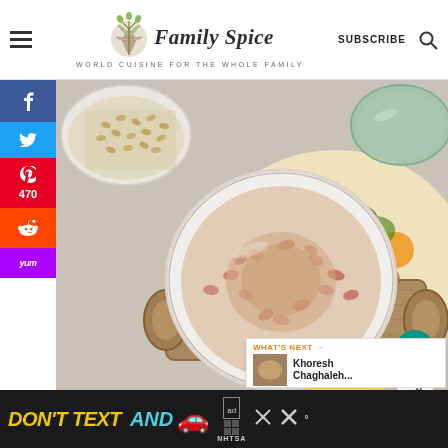Family Spice — WORLD CUISINE FOR THE WHOLE FAMILY | SUBSCRIBE
[Figure (photo): Overhead shot of a white bowl containing a bean soup/porridge with nuts, on a colorful floral textile and wooden board. Small white bowl of legumes and green glass bowl visible in background. Lemons visible at bottom. Social share buttons (Facebook, Twitter, Pinterest 470, Reddit, Yummly) on left sidebar.]
470
SHARES
WHAT'S NEXT → Khoresh Chaghaleh...
10
[Figure (photo): Advertisement banner: DON'T TEXT AND [car emoji] with NHTSA logo. Dark background. Yellow and cyan text. Close buttons on right.]